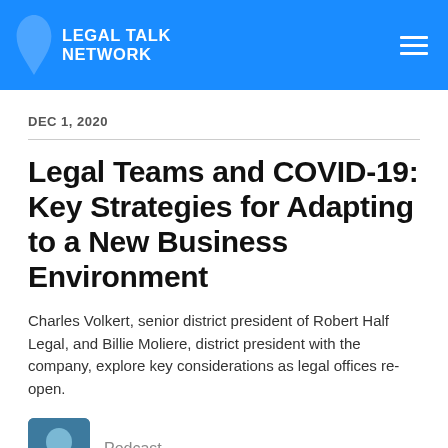LEGAL TALK NETWORK
DEC 1, 2020
Legal Teams and COVID-19: Key Strategies for Adapting to a New Business Environment
Charles Volkert, senior district president of Robert Half Legal, and Billie Moliere, district president with the company, explore key considerations as legal offices re-open.
Podcast